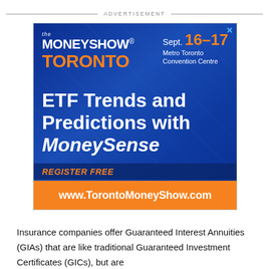ADVERTISEMENT
[Figure (other): Advertisement banner for The MoneyShow Toronto, Sept. 16-17 at Metro Toronto Convention Centre. Text reads: ETF Trends and Predictions with MoneySense. Register Free at www.TorontoMoneyShow.com]
Insurance companies offer Guaranteed Interest Annuities (GIAs) that are like traditional Guaranteed Investment Certificates (GICs), but are